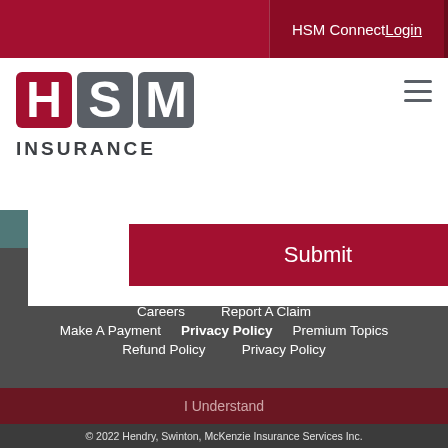HSM Connect Login
[Figure (logo): HSM Insurance logo with red H block and grey S M blocks, followed by INSURANCE text]
[Figure (screenshot): Submit button (red) in white panel overlaid on Google Maps teal map area showing partial reservation label and Ocean S label]
Careers | Report A Claim | Make A Payment | Privacy Policy | Premium Topics | Refund Policy | Privacy Policy | I Understand | © 2022 Hendry, Swinton, McKenzie Insurance Services Inc.